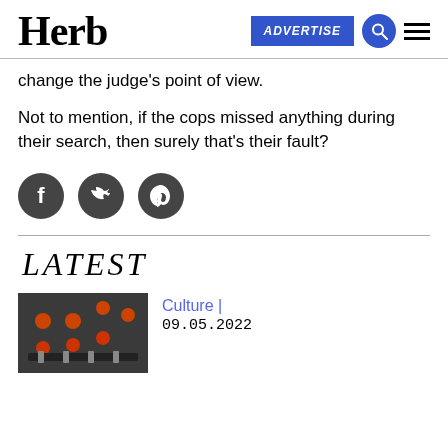Herb | ADVERTISE
change the judge’s point of view.
Not to mention, if the cops missed anything during their search, then surely that’s their fault?
[Figure (other): Social media share icons: Facebook, Twitter, Pinterest (dark grey circles)]
LATEST
[Figure (photo): Close-up photo of electronic equipment/mixer with orange and red buttons]
Culture | 09.05.2022